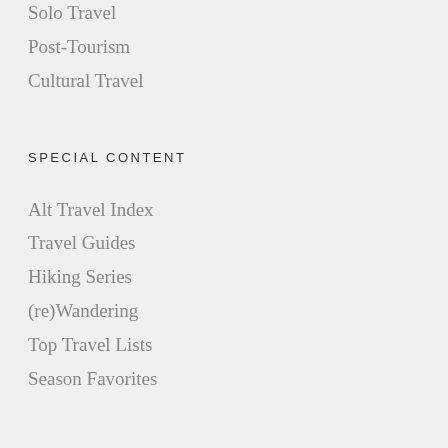Solo Travel
Post-Tourism
Cultural Travel
SPECIAL CONTENT
Alt Travel Index
Travel Guides
Hiking Series
(re)Wandering
Top Travel Lists
Season Favorites
GOOD READS
Into the Wild